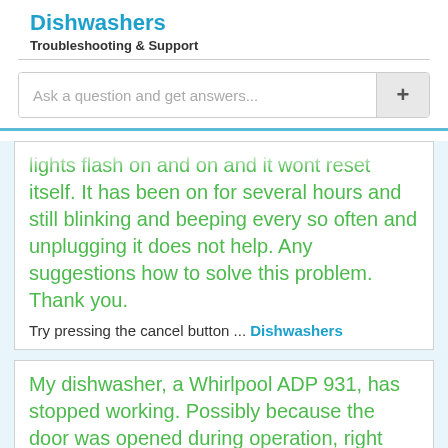Dishwashers
Troubleshooting & Support
Ask a question and get answers...
lights flash on and on and it wont reset itself. It has been on for several hours and still blinking and beeping every so often and unplugging it does not help. Any suggestions how to solve this problem. Thank you.
Try pressing the cancel button ... Dishwashers
My dishwasher, a Whirlpool ADP 931, has stopped working. Possibly because the door was opened during operation, right after it was started. There is some kind of error condition indicated through a blinking Start light, but I don't know how to analyze this. This is a quite